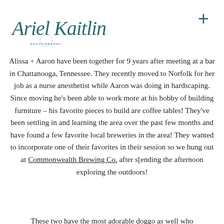[Figure (logo): Ariel Kaitlin Photography cursive script logo in teal/dark teal color]
+
Alissa + Aaron have been together for 9 years after meeting at a bar in Chattanooga, Tennessee. They recently moved to Norfolk for her job as a nurse anesthetist while Aaron was doing in hardscaping. Since moving he’s been able to work more at his hobby of building furniture – his favorite pieces to build are coffee tables! They’ve been settling in and learning the area over the past few months and have found a few favorite local breweries in the area! They wanted to incorporate one of their favorites in their session so we hung out at Commonwealth Brewing Co. after s[ending the afternoon exploring the outdoors!
These two have the most adorable doggo as well who